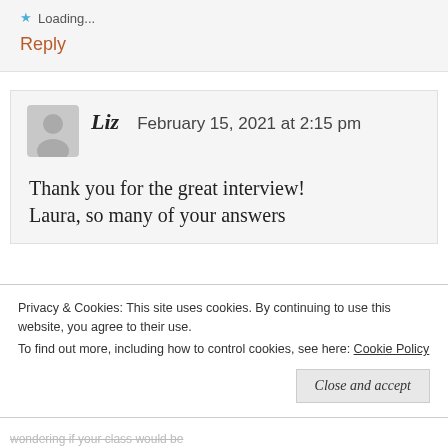★ Loading...
Reply
Liz  February 15, 2021 at 2:15 pm
Thank you for the great interview! Laura, so many of your answers
Privacy & Cookies: This site uses cookies. By continuing to use this website, you agree to their use.
To find out more, including how to control cookies, see here: Cookie Policy
Close and accept
wondering if your class would be